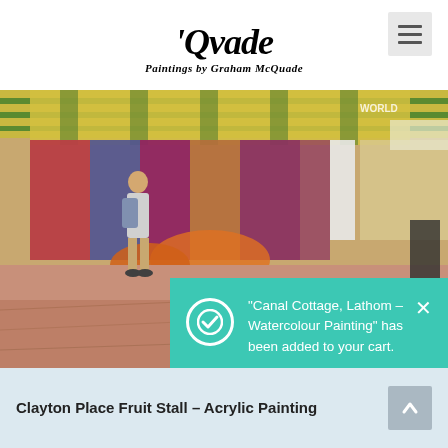[Figure (logo): McQuade script logo with text 'Paintings by Graham McQuade' underneath, and a hamburger menu icon on the right]
[Figure (photo): Acrylic painting of a market fruit stall scene — colorful striped awnings, a figure with a backpack viewed from behind, warm earthy ground tones]
“Canal Cottage, Lathom – Watercolour Painting” has been added to your cart. View cart
Clayton Place Fruit Stall – Acrylic Painting